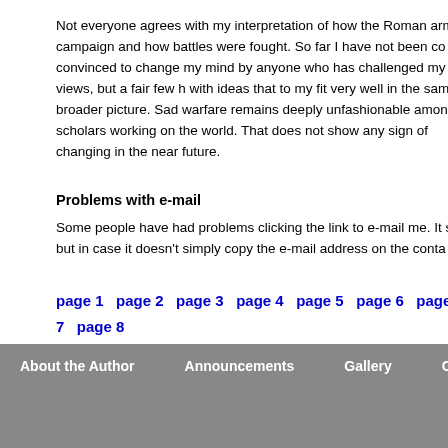Not everyone agrees with my interpretation of how the Roman army campaign and how battles were fought. So far I have not been convinced to change my mind by anyone who has challenged my views, but a fair few have come up with ideas that to my fit very well in the same broader picture. Sadly, this style of warfare remains deeply unfashionable among scholars working on the ancient world. That does not show any sign of changing in the near future.
Problems with e-mail
Some people have had problems clicking the link to e-mail me. It should work, but in case it doesn't simply copy the e-mail address on the contact page.
page 1  page 2  page 3  page 4  page 5  page 6  page 7  page 8  page 10  page 11  page 12  page 13  page 14  page 15  page 16  page 19  page 20  page 21  page 22  page 23
About the Author    Announcements    Gallery    Co...